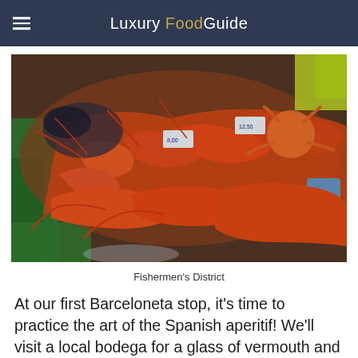Luxury Food Guide
[Figure (photo): A colorful seafood market display showing prawns, langoustines, crabs, and other shellfish piled on a market stall in the Fishermen's District.]
Fishermen's District
At our first Barceloneta stop, it's time to practice the art of the Spanish aperitif! We'll visit a local bodega for a glass of vermouth and Barcelona's favorite tapa: the